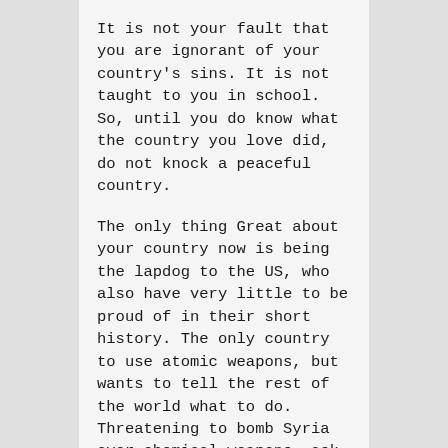It is not your fault that you are ignorant of your country's sins. It is not taught to you in school. So, until you do know what the country you love did, do not knock a peaceful country.
The only thing Great about your country now is being the lapdog to the US, who also have very little to be proud of in their short history. The only country to use atomic weapons, but wants to tell the rest of the world what to do. Threatening to bomb Syria over chemical weapons, ask